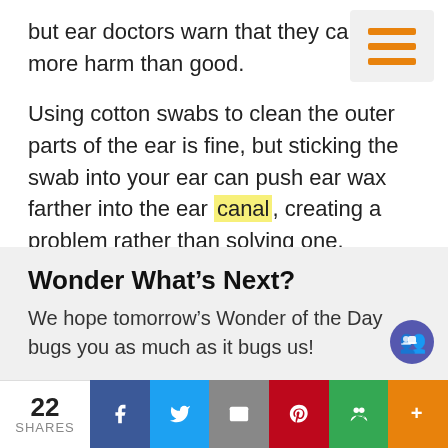but ear doctors warn that they can do more harm than good.
[Figure (other): Hamburger menu icon with three orange horizontal lines on a light gray background]
Using cotton swabs to clean the outer parts of the ear is fine, but sticking the swab into your ear can push ear wax farther into the ear canal, creating a problem rather than solving one.
As a wise man once said, “Don’t put anything smaller than your elbow in your ear!”
Wonder What’s Next?
We hope tomorrow’s Wonder of the Day bugs you as much as it bugs us!
22 SHARES | Facebook | Twitter | Email | Pinterest | Google+ | More